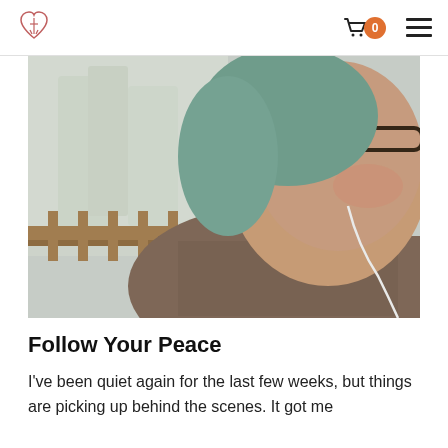Navigation bar with heart logo, shopping cart with badge 0, and hamburger menu
[Figure (photo): Selfie photo of a woman with glasses and teal-tinted hair wearing a patterned cardigan and earbuds/earphones, seated near a window with a snowy winter scene and wooden railing visible in the background.]
Follow Your Peace
I've been quiet again for the last few weeks, but things are picking up behind the scenes. It got me